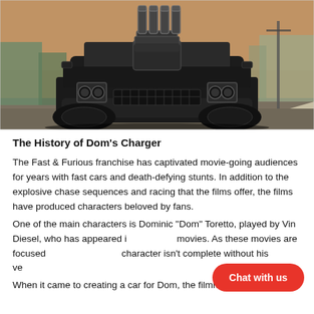[Figure (photo): Front view of Dom's black Dodge Charger with a large supercharger engine protruding through the hood, driving on a road with industrial background.]
The History of Dom's Charger
The Fast & Furious franchise has captivated movie-going audiences for years with fast cars and death-defying stunts. In addition to the explosive chase sequences and racing that the films offer, the films have produced characters beloved by fans.
One of the main characters is Dominic "Dom" Toretto, played by Vin Diesel, who has appeared in 7 of the 8 movies. As these movies are focused on character, the character isn't complete without his vehicle.
When it came to creating a car for Dom, the filmmakers